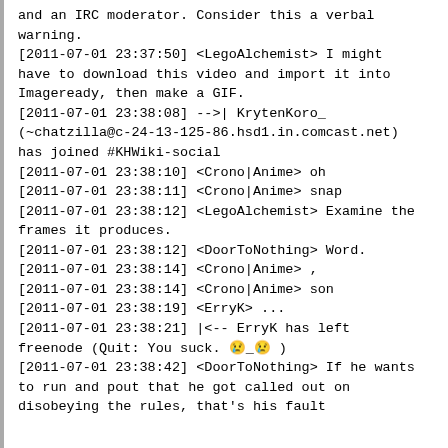and an IRC moderator. Consider this a verbal warning.
[2011-07-01 23:37:50] <LegoAlchemist> I might have to download this video and import it into Imageready, then make a GIF.
[2011-07-01 23:38:08] -->| KrytenKoro_ (~chatzilla@c-24-13-125-86.hsd1.in.comcast.net) has joined #KHWiki-social
[2011-07-01 23:38:10] <Crono|Anime> oh
[2011-07-01 23:38:11] <Crono|Anime> snap
[2011-07-01 23:38:12] <LegoAlchemist> Examine the frames it produces.
[2011-07-01 23:38:12] <DoorToNothing> Word.
[2011-07-01 23:38:14] <Crono|Anime> ,
[2011-07-01 23:38:14] <Crono|Anime> son
[2011-07-01 23:38:19] <ErryK> ...
[2011-07-01 23:38:21] |<-- ErryK has left freenode (Quit: You suck. 😢_😢 )
[2011-07-01 23:38:42] <DoorToNothing> If he wants to run and pout that he got called out on disobeying the rules, that's his fault